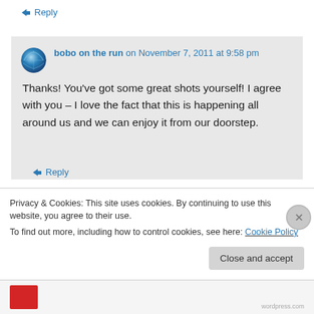↪ Reply
bobo on the run on November 7, 2011 at 9:58 pm
Thanks! You've got some great shots yourself! I agree with you – I love the fact that this is happening all around us and we can enjoy it from our doorstep.
↪ Reply
Privacy & Cookies: This site uses cookies. By continuing to use this website, you agree to their use. To find out more, including how to control cookies, see here: Cookie Policy
Close and accept